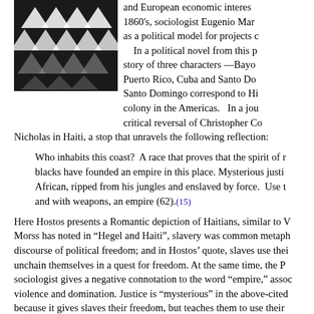[Figure (photo): Black and white abstract photograph showing geometric shapes resembling leaves or flame-like forms arranged in a pattern]
and European economic interes 1860's, sociologist Eugenio Mar as a political model for projects c In a political novel from this p story of three characters —Bayo Puerto Rico, Cuba and Santo Do Santo Domingo correspond to Hi colony in the Americas.  In a jou critical reversal of Christopher Co Nicholas in Haiti, a stop that unravels the following reflection:
Who inhabits this coast?  A race that proves that the spirit of r blacks have founded an empire in this place. Mysterious justi African, ripped from his jungles and enslaved by force.  Use t and with weapons, an empire (62).(15)
Here Hostos presents a Romantic depiction of Haitians, similar to V Morss has noted in “Hegel and Haiti”, slavery was common metaph discourse of political freedom; and in Hostos’ quote, slaves use thei unchain themselves in a quest for freedom. At the same time, the P sociologist gives a negative connotation to the word “empire,” assoc violence and domination. Justice is “mysterious” in the above-cited because it gives slaves their freedom, but teaches them to use their violence. Hostos suggests that civilization in the hands of Africans is experience of slavery; the strength that serves to “free” Africans is n by blacks, who fail to comprehend freedom as “a force of spirit” in H The question of the humanity of the slave came to the fore of philos political debates in the wake of the French Revolution, and particula proclaimed its independence in 1804, the first country in Latin Amer